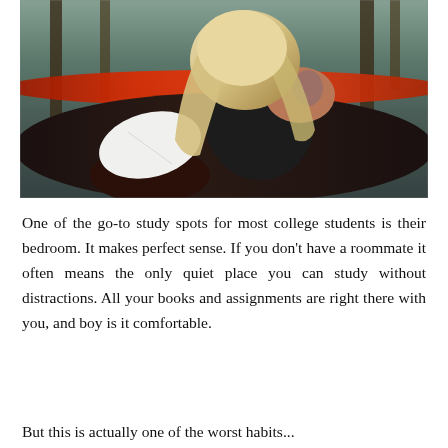[Figure (photo): A woman with blonde hair and a tattoo on her shoulder sits in a red and black hammock outdoors, reading a book. Trees are visible in the background.]
One of the go-to study spots for most college students is their bedroom. It makes perfect sense. If you don't have a roommate it often means the only quiet place you can study without distractions. All your books and assignments are right there with you, and boy is it comfortable.
But this is actually one of the worst habits...